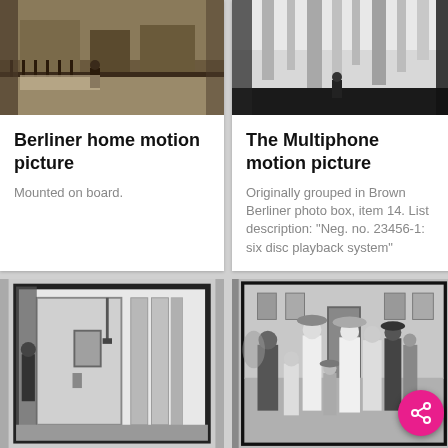[Figure (photo): Black and white/sepia historical photograph - street scene with fence and figures, top left card]
Berliner home motion picture
Mounted on board.
[Figure (photo): Black and white photograph showing icicles or vertical structures, top right card]
The Multiphone motion picture
Originally grouped in Brown Berliner photo box, item 14. List description: "Neg. no. 23456-1: six disc playback system"
[Figure (photo): Black and white photograph of a door or machinery/equipment with wooden planks, bottom left]
[Figure (photo): Black and white photograph of a group of people (family portrait) standing outdoors in front of a building, bottom right]